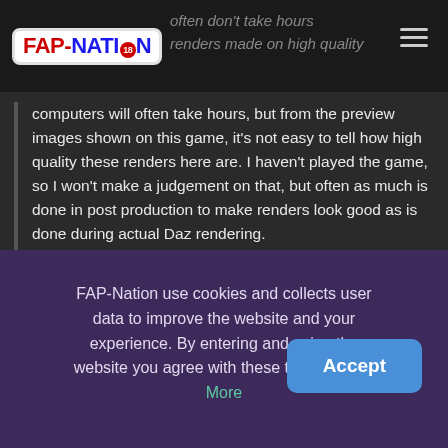FAP-NATION | often don't take hours renders made on high quality
computers will often take hours, but from the preview images shown on this game, it's not easy to tell how high quality these renders here are. I haven't played the game, so I won't make a judgement on that, but often as much is done in post production to make renders look good as is done during actual Daz rendering.
0 | 0   Reply
FAP-Nation use cookies and collects user data to improve the website and your experience. By entering and using the website you agree with these terms. Learn More